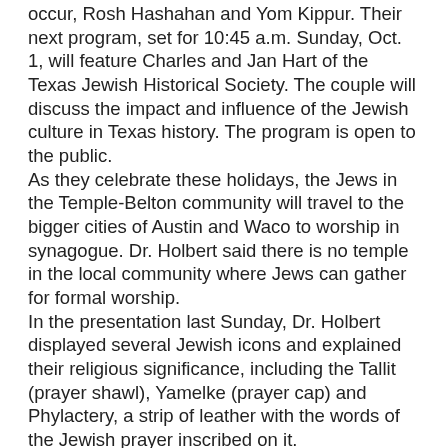occur, Rosh Hashahan and Yom Kippur. Their next program, set for 10:45 a.m. Sunday, Oct. 1, will feature Charles and Jan Hart of the Texas Jewish Historical Society. The couple will discuss the impact and influence of the Jewish culture in Texas history. The program is open to the public.
As they celebrate these holidays, the Jews in the Temple-Belton community will travel to the bigger cities of Austin and Waco to worship in synagogue. Dr. Holbert said there is no temple in the local community where Jews can gather for formal worship.
In the presentation last Sunday, Dr. Holbert displayed several Jewish icons and explained their religious significance, including the Tallit (prayer shawl), Yamelke (prayer cap) and Phylactery, a strip of leather with the words of the Jewish prayer inscribed on it.
'The Tallit wraps the person in holiness, so he or she can forget all the troubles in the outside world,' Dr. Holbert said. 'And the leather prayer straps are not used for self-castigation.'
The reference to the idea of inflicting pain in God's glory came in response to a question from the audience. Its answer segued into a conversation about Judiasm's teaching